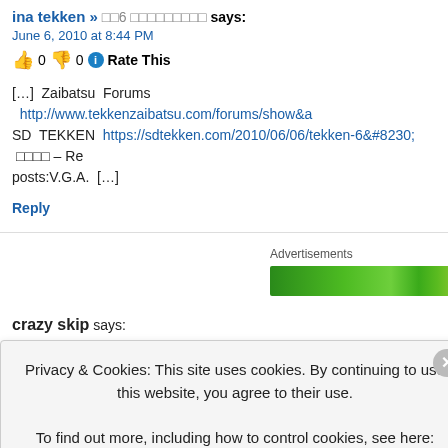ina tekken » □□6 □□□□□□□□□ says:
June 6, 2010 at 8:44 PM
👍 0 👎 0 ℹ Rate This
[…] Zaibatsu Forums http://www.tekkenzaibatsu.com/forums/show&a SD TEKKEN https://sdtekken.com/2010/06/06/tekken-6&#8230; □□□□ – Re posts:V.G.A. […]
Reply
Advertisements
[Figure (other): Green advertisement banner]
crazy skip says:
June 6, 2010 at 9:24 PM
👍 0 👎 0 ℹ Rate This
http://www.eventhubs.com/news/2010/jun/06/dubious-rumor-tekken...
Privacy & Cookies: This site uses cookies. By continuing to use this website, you agree to their use.
To find out more, including how to control cookies, see here: Cookie Policy
Close and accept